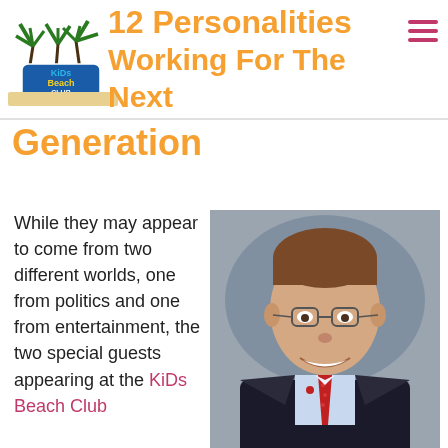[Figure (logo): Kids Beach Club logo with palm trees]
12 Personalities Working For The Next Generation
While they may appear to come from two different worlds, one from politics and one from entertainment, the two special guests appearing at the KiDs Beach Club
[Figure (photo): Professional headshot of a man in a dark suit with a red tie and glasses, smiling, against a grey background]